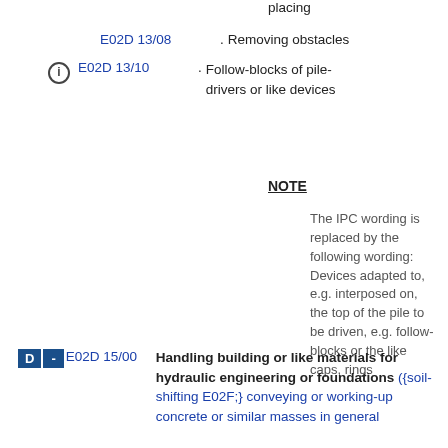placing
E02D 13/08 . Removing obstacles
E02D 13/10 . Follow-blocks of pile-drivers or like devices
NOTE
The IPC wording is replaced by the following wording: Devices adapted to, e.g. interposed on, the top of the pile to be driven, e.g. follow-blocks or the like caps, rings
D - E02D 15/00 Handling building or like materials for hydraulic engineering or foundations ({soil-shifting E02F;} conveying or working-up concrete or similar masses in general